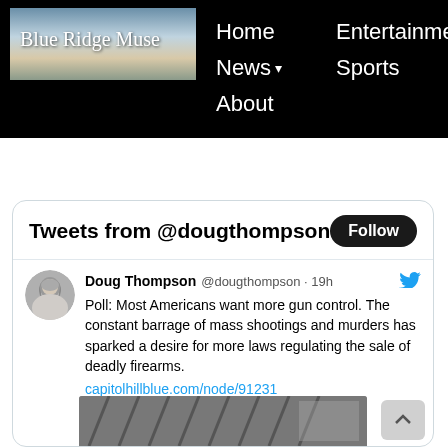[Figure (logo): Blue Ridge Muse logo with landscape background image showing mountains/sky]
Home   Entertainment   M
News ▾   Sports   Visuals
About
Tweets from @dougthompson
Follow
Doug Thompson @dougthompson · 19h
Poll: Most Americans want more gun control. The constant barrage of mass shootings and murders has sparked a desire for more laws regulating the sale of deadly firearms.
capitolhillblue.com/node/91231
[Figure (photo): Partial photo of firearms/gun racks at bottom of tweet card]